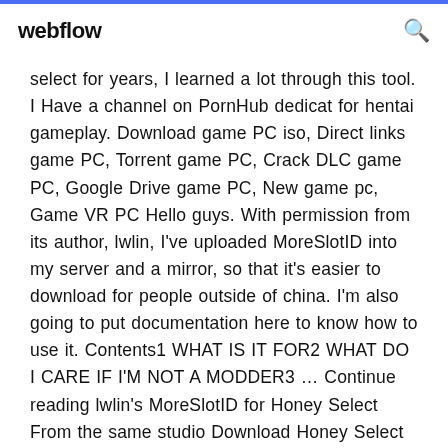webflow
select for years, I learned a lot through this tool. I Have a channel on PornHub dedicat for hentai gameplay. Download game PC iso, Direct links game PC, Torrent game PC, Crack DLC game PC, Google Drive game PC, New game pc, Game VR PC Hello guys. With permission from its author, lwlin, I've uploaded MoreSlotID into my server and a mirror, so that it's easier to download for people outside of china. I'm also going to put documentation here to know how to use it. Contents1 WHAT IS IT FOR2 WHAT DO I CARE IF I'M NOT A MODDER3 … Continue reading lwlin's MoreSlotID for Honey Select From the same studio Download Honey Select Mega Pack v1.20 - Illusion - 2016 - Game hentai